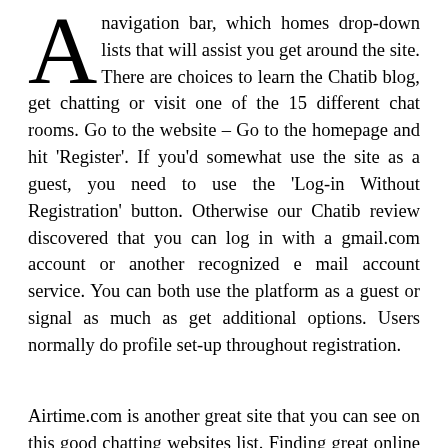A navigation bar, which homes drop-down lists that will assist you get around the site. There are choices to learn the Chatib blog, get chatting or visit one of the 15 different chat rooms. Go to the website – Go to the homepage and hit 'Register'. If you'd somewhat use the site as a guest, you need to use the 'Log-in Without Registration' button. Otherwise our Chatib review discovered that you can log in with a gmail.com account or another recognized e mail account service. You can both use the platform as a guest or signal as much as get additional options. Users normally do profile set-up throughout registration.
Airtime.com is another great site that you can see on this good chatting websites list. Finding great online chat websites in 2022 shouldn't be a hurdle anymore. Just make